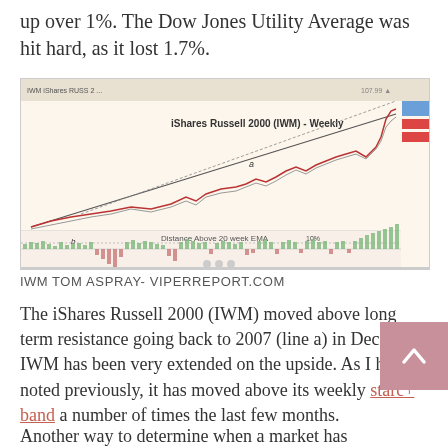up over 1%. The Dow Jones Utility Average was hit hard, as it lost 1.7%.
[Figure (continuous-plot): iShares Russell 2000 (IWM) - Weekly chart showing price action with an upward trendline labeled 'a', and a lower panel showing Distance Above 20 week EMA with green and red bars, labeled 'b', with 10% line marked. Chart source: Tom Aspray, ViperReport.com]
IWM TOM ASPRAY- VIPERREPORT.COM
The iShares Russell 2000 (IWM) moved above long term resistance going back to 2007 (line a) in December. IWM has been very extended on the upside. As I have noted previously, it has moved above its weekly starc+ band a number of times the last few months.
Another way to determine when a market has